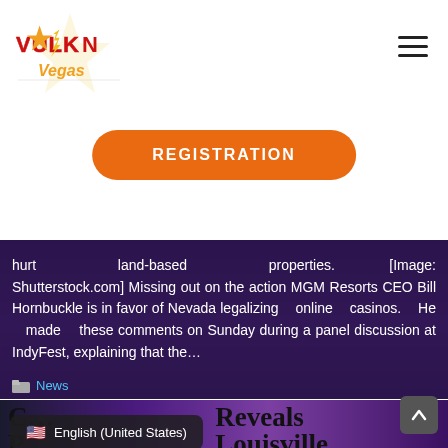[Figure (logo): Vulkan Vegas logo with stylized text and star/lightning bolt graphic in red, orange, and yellow]
[Figure (other): Hamburger menu icon (three horizontal lines) in top right corner]
[Figure (other): Orange rounded rectangle REGISTRATION button]
hurt land-based properties. [Image: Shutterstock.com] Missing out on the action MGM Resorts CEO Bill Hornbuckle is in favor of Nevada legalizing online casinos. He made these comments on Sunday during a panel discussion at IndyFest, explaining that the…
News
[Figure (photo): Dark purple background photo showing people in an entertainment/casino setting]
C… Reveals P… Louisville
English (United States)